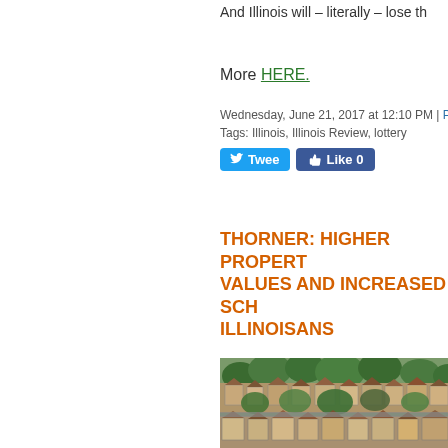And Illinois will – literally – lose th
More HERE.
Wednesday, June 21, 2017 at 12:10 PM | Permalink
Tags: Illinois, Illinois Review, lottery
THORNER: HIGHER PROPERTY VALUES AND INCREASED SCH ILLINOISANS
[Figure (photo): Aerial view of a dense suburban neighborhood with rows of houses and trees, photographed from above.]